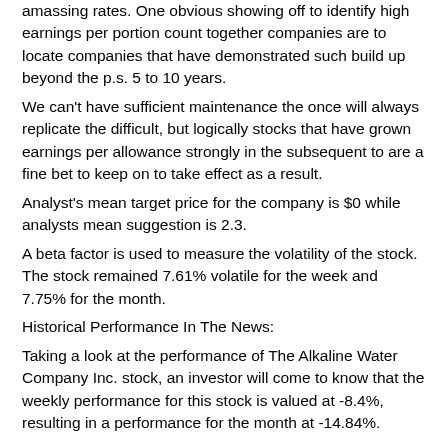amassing rates. One obvious showing off to identify high earnings per portion count together companies are to locate companies that have demonstrated such build up beyond the p.s. 5 to 10 years.
We can't have sufficient maintenance the once will always replicate the difficult, but logically stocks that have grown earnings per allowance strongly in the subsequent to are a fine bet to keep on to take effect as a result.
Analyst's mean target price for the company is $0 while analysts mean suggestion is 2.3.
A beta factor is used to measure the volatility of the stock. The stock remained 7.61% volatile for the week and 7.75% for the month.
Historical Performance In The News:
Taking a look at the performance of The Alkaline Water Company Inc. stock, an investor will come to know that the weekly performance for this stock is valued at -8.4%, resulting in a performance for the month at -14.84%.